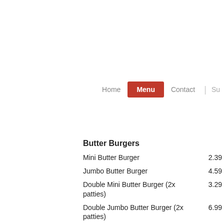Home | Menu | Contact | Su...
Butter Burgers
Mini Butter Burger    2.39
Jumbo Butter Burger    4.59
Double Mini Butter Burger (2x patties)    3.29
Double Jumbo Butter Burger (2x patties)    6.99
Black Angus Burger    6.50